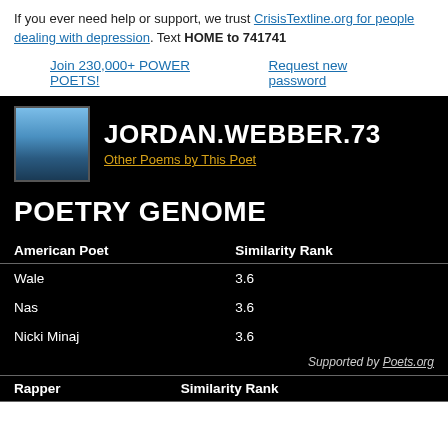If you ever need help or support, we trust CrisisTextline.org for people dealing with depression. Text HOME to 741741
Join 230,000+ POWER POETS!   Request new password
JORDAN.WEBBER.73
Other Poems by This Poet
POETRY GENOME
| American Poet | Similarity Rank |
| --- | --- |
| Wale | 3.6 |
| Nas | 3.6 |
| Nicki Minaj | 3.6 |
Supported by Poets.org
| Rapper | Similarity Rank |
| --- | --- |